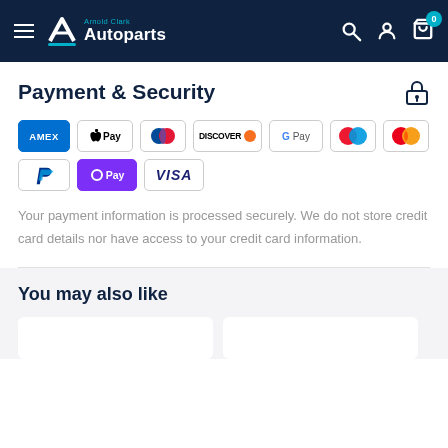Arnold Clark Autoparts — navigation header with hamburger menu, logo, search, account, and cart icons
Payment & Security
[Figure (infographic): Payment method logos: AMEX, Apple Pay, Diners Club, Discover, Google Pay, Maestro, Mastercard, PayPal, O Pay, VISA]
Your payment information is processed securely. We do not store credit card details nor have access to your credit card information.
You may also like